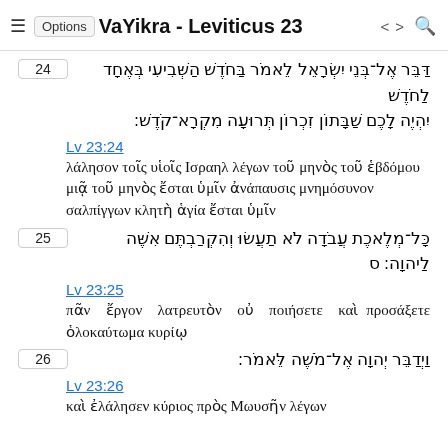≡ Options VaYikra - Leviticus 23 < > 🔍
24 [Hebrew: דַּבֵּר אֶל־בְּנֵי יִשְׂרָאֵל לֵאמֹר בַּחֹדֶשׁ הַשְּׁבִיעִי בְּאֶחָד לַחֹדֶשׁ יִהְיֶה לָכֶם שַׁבָּתוֹן זִכְרוֹן תְּרוּעָה מִקְרָא־קֹדֶשׁ׃]
Lv 23:24
λάλησον τοῖς υἱοῖς Ισραηλ λέγων τοῦ μηνὸς τοῦ ἑβδόμου μιᾷ τοῦ μηνὸς ἔσται ὑμῖν ἀνάπαυσις μνημόσυνον σαλπίγγων κλητὴ ἁγία ἔσται ὑμῖν
25 [Hebrew: כָּל־מְלֶאכֶת עֲבֹדָה לֹא תַעֲשׂוּ וְהִקְרַבְתֶּם אִשֶּׁה לַיהוָה׃ ס]
Lv 23:25
πᾶν ἔργον λατρευτὸν οὐ ποιήσετε καὶ προσάξετε ὁλοκαύτωμα κυρίῳ
26 [Hebrew: וַיְדַבֵּר יְהוָה אֶל־מֹשֶׁה לֵּאמֹר׃]
Lv 23:26
καὶ ἐλάλησεν κύριος πρὸς Μωυσῆν λέγων